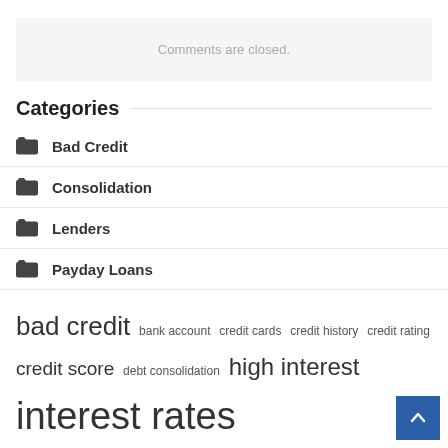Comments are closed.
Categories
Bad Credit
Consolidation
Lenders
Payday Loans
bad credit  bank account  credit cards  credit history  credit rating  credit score  debt consolidation  high interest  interest rates